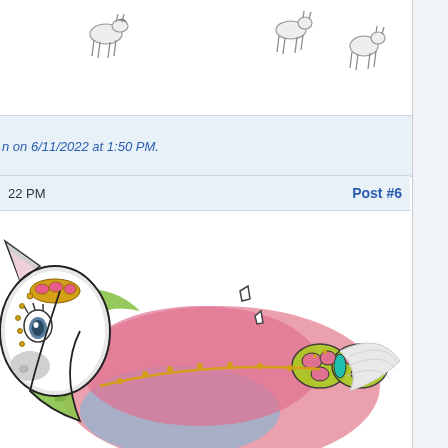[Figure (illustration): Top portion of a forum post showing small pencil sketch drawings of horses/ponies in the upper area, on a white background.]
n on 6/11/2022 at 1:50 PM.
22 PM    Post #6
[Figure (illustration): Colorful illustration of a fantasy pony/horse with decorative jewelry/ornaments, green mane, pink and blue body coloring, butterfly-shaped decorative piece, and wings. The character appears to be looking to the left with expressive eyes.]